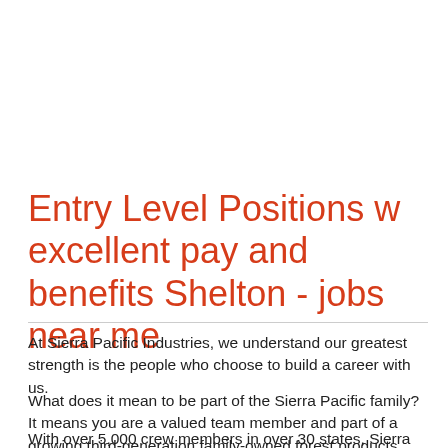Entry Level Positions w excellent pay and benefits Shelton - jobs near me
At Sierra Pacific Industries, we understand our greatest strength is the people who choose to build a career with us.
What does it mean to be part of the Sierra Pacific family? It means you are a valued team member and part of a growing third-generation family-owned forest products company built on hard work, innovation, and wise investments.
With over 5,000 crew members in over 30 states, Sierra Pacific